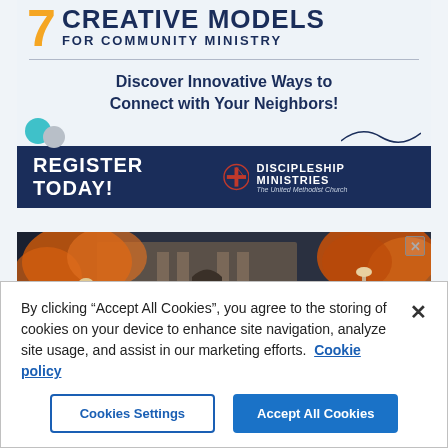[Figure (illustration): Advertisement banner: '7 Creative Models for Community Ministry - Discover Innovative Ways to Connect with Your Neighbors! Register Today! Discipleship Ministries - The United Methodist Church']
[Figure (photo): Photo of a church building exterior with autumn foliage, stone architecture and a decorative gate, with a close button (X) in top right corner]
By clicking “Accept All Cookies”, you agree to the storing of cookies on your device to enhance site navigation, analyze site usage, and assist in our marketing efforts.  Cookie policy
Cookies Settings
Accept All Cookies